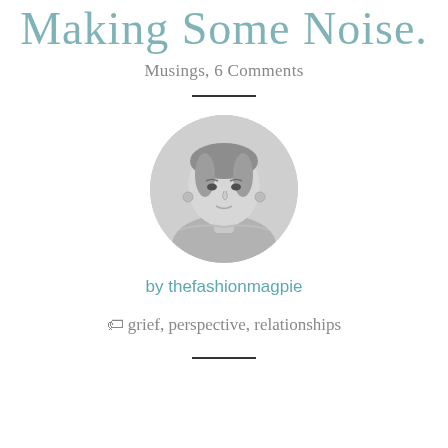Making Some Noise.
Musings, 6 Comments
[Figure (photo): Circular black and white portrait photo of a woman with earrings, hair pulled back, looking at camera]
by thefashionmagpie
grief, perspective, relationships